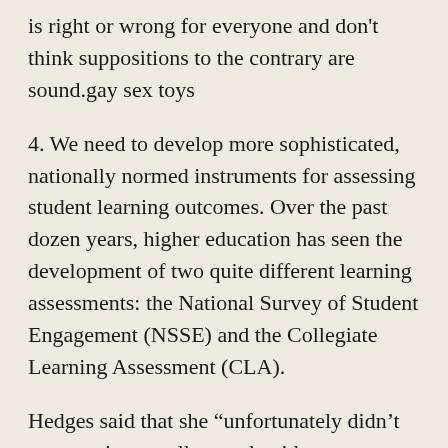is right or wrong for everyone and don't think suppositions to the contrary are sound.gay sex toys
4. We need to develop more sophisticated, nationally normed instruments for assessing student learning outcomes. Over the past dozen years, higher education has seen the development of two quite different learning assessments: the National Survey of Student Engagement (NSSE) and the Collegiate Learning Assessment (CLA).
Hedges said that she “unfortunately didn’t communicate well enough with parents ahead of time” about the trip. Pornographic items were off limits to the children, Hedges said, but sex toys and other products were visible. “I don’t think anybody would think that going to the Smitten Kitten is a great idea,” he said..
vibrators Once some students tried to start a program